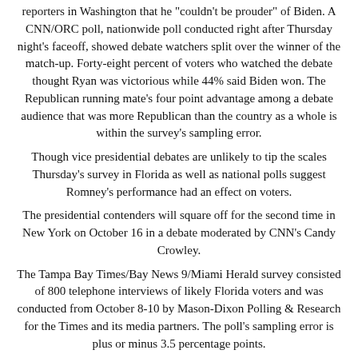reporters in Washington that he "couldn't be prouder" of Biden. A CNN/ORC poll, nationwide poll conducted right after Thursday night's faceoff, showed debate watchers split over the winner of the match-up. Forty-eight percent of voters who watched the debate thought Ryan was victorious while 44% said Biden won. The Republican running mate's four point advantage among a debate audience that was more Republican than the country as a whole is within the survey's sampling error.
Though vice presidential debates are unlikely to tip the scales Thursday's survey in Florida as well as national polls suggest Romney's performance had an effect on voters.
The presidential contenders will square off for the second time in New York on October 16 in a debate moderated by CNN's Candy Crowley.
The Tampa Bay Times/Bay News 9/Miami Herald survey consisted of 800 telephone interviews of likely Florida voters and was conducted from October 8-10 by Mason-Dixon Polling & Research for the Times and its media partners. The poll's sampling error is plus or minus 3.5 percentage points.
CNN Political Editor Paul Steinhauser contributed to this report.